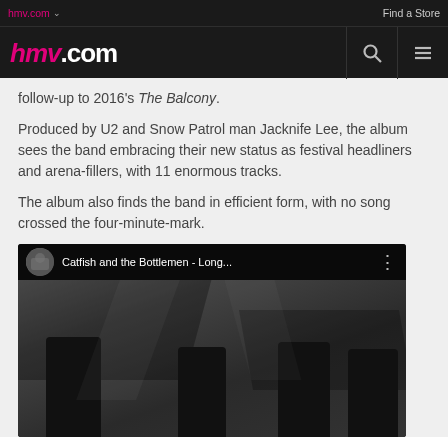hmv.com  Find a Store
[Figure (screenshot): hmv.com website navigation bar with logo, search icon, and menu icon]
follow-up to 2016's The Balcony.
Produced by U2 and Snow Patrol man Jacknife Lee, the album sees the band embracing their new status as festival headliners and arena-fillers, with 11 enormous tracks.
The album also finds the band in efficient form, with no song crossed the four-minute-mark.
[Figure (screenshot): YouTube video embed showing Catfish and the Bottlemen - Long... with band photo in grayscale]